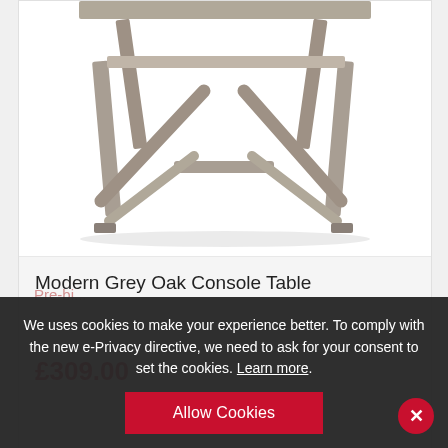[Figure (photo): Photo of a Modern Grey Oak Console Table showing a wooden table with A-frame trestle legs, grey oak finish, viewed from a slight angle below]
Modern Grey Oak Console Table
£309.00
We uses cookies to make your experience better. To comply with the new e-Privacy directive, we need to ask for your consent to set the cookies. Learn more.
Allow Cookies